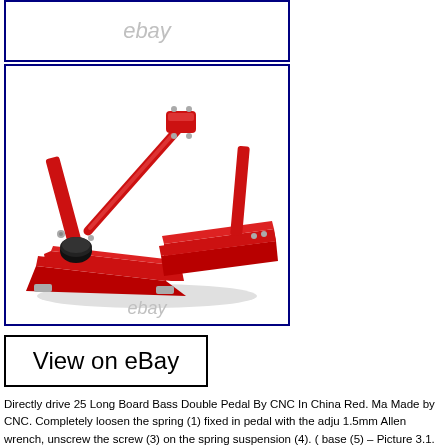[Figure (photo): Top image box with eBay watermark text on white background, blue border]
[Figure (photo): Red CNC double bass drum pedal product photo with eBay watermark, blue border]
View on eBay
Directly drive 25 Long Board Bass Double Pedal By CNC In China Red. Ma Made by CNC. Completely loosen the spring (1) fixed in pedal with the adju 1.5mm Allen wrench, unscrew the screw (3) on the spring suspension (4). ( base (5) – Picture 3.1. To do this, you have to loosen the screw (4), shift the